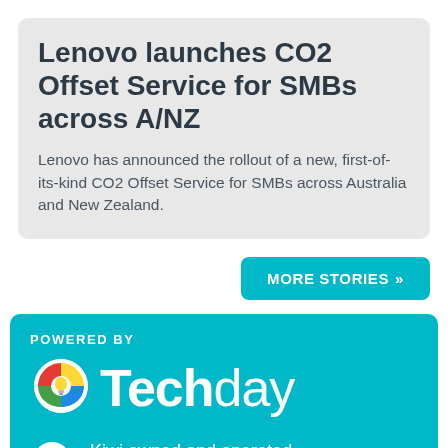Lenovo launches CO2 Offset Service for SMBs across A/NZ
Lenovo has announced the rollout of a new, first-of-its-kind CO2 Offset Service for SMBs across Australia and New Zealand.
MORE STORIES »
POWERED BY
[Figure (logo): Techday logo with hot-air balloon icon and wordmark 'Techday' in white on teal background]
Kiwi owned and operated